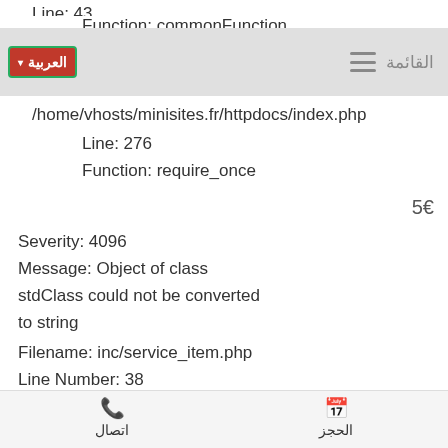Line: 43
Function: commonFunction
العربية  القائمة ≡
/home/vhosts/minisites.fr/httpdocs/index.php
Line: 276
Function: require_once
5€
Severity: 4096
Message: Object of class stdClass could not be converted to string
Filename: inc/service_item.php
Line Number: 38
Backtrace:
File:
/home/vhosts/minisites.fr/httpdocs/application/views/hom
Line: 38
Function: _error_handler
الحجز   اتصال